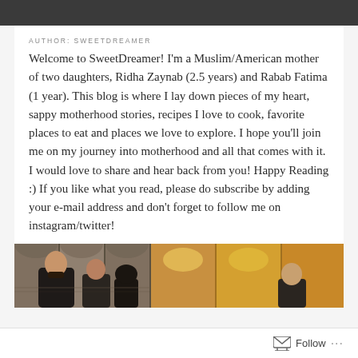AUTHOR: SWEETDREAMER
Welcome to SweetDreamer! I'm a Muslim/American mother of two daughters, Ridha Zaynab (2.5 years) and Rabab Fatima (1 year). This blog is where I lay down pieces of my heart, sappy motherhood stories, recipes I love to cook, favorite places to eat and places we love to explore. I hope you'll join me on my journey into motherhood and all that comes with it. I would love to share and hear back from you! Happy Reading :) If you like what you read, please do subscribe by adding your e-mail address and don't forget to follow me on instagram/twitter!
[Figure (photo): A photo strip showing people inside what appears to be an ornate mosque or shrine with decorative tiled walls and golden/warm-lit interiors.]
Follow